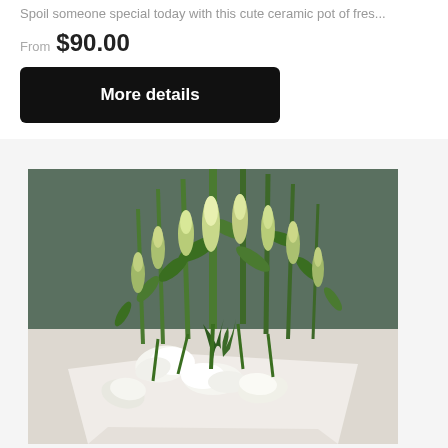Spoil someone special today with this cute ceramic pot of fres...
From $90.00
More details
[Figure (photo): A bouquet of white oriental lilies with green buds and foliage wrapped in white paper, photographed against a dark teal/grey background.]